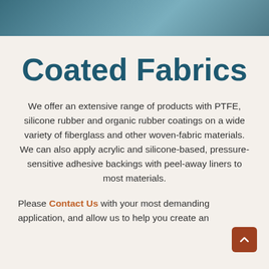[Figure (photo): Dark teal/blue banner photo at top of page, appears to show coated fabric material]
Coated Fabrics
We offer an extensive range of products with PTFE, silicone rubber and organic rubber coatings on a wide variety of fiberglass and other woven-fabric materials. We can also apply acrylic and silicone-based, pressure-sensitive adhesive backings with peel-away liners to most materials.
Please Contact Us with your most demanding application, and allow us to help you create an